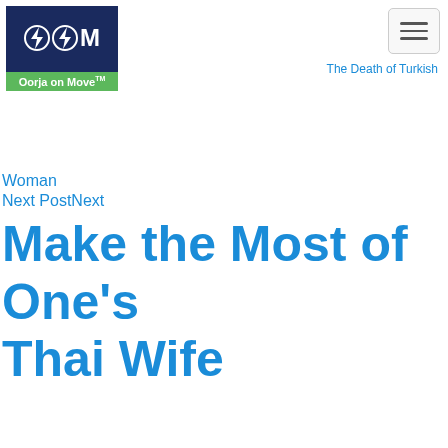[Figure (logo): Oorja on Move logo with lightning bolt icons on dark blue background and green text bar]
The Death of Turkish
Woman
Next PostNext
Make the Most of One's Thai Wife